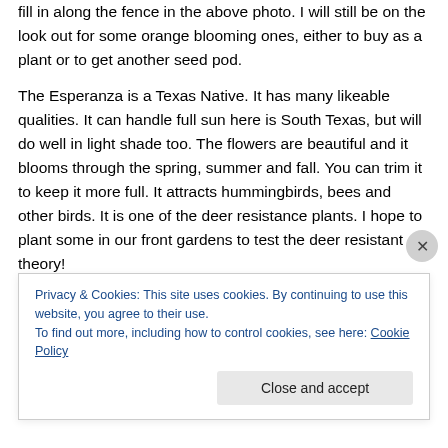fill in along the fence in the above photo. I will still be on the look out for some orange blooming ones, either to buy as a plant or to get another seed pod.
The Esperanza is a Texas Native. It has many likeable qualities. It can handle full sun here is South Texas, but will do well in light shade too. The flowers are beautiful and it blooms through the spring, summer and fall. You can trim it to keep it more full. It attracts hummingbirds, bees and other birds. It is one of the deer resistance plants. I hope to plant some in our front gardens to test the deer resistant theory!
Privacy & Cookies: This site uses cookies. By continuing to use this website, you agree to their use.
To find out more, including how to control cookies, see here: Cookie Policy